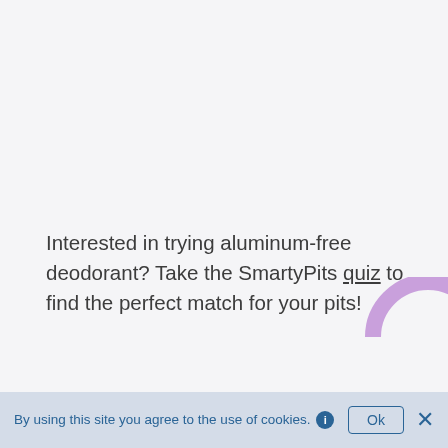Interested in trying aluminum-free deodorant? Take the SmartyPits quiz to find the perfect match for your pits!
Share  Tweet  Pin it
Browse Topics
FEATURED
By using this site you agree to the use of cookies.